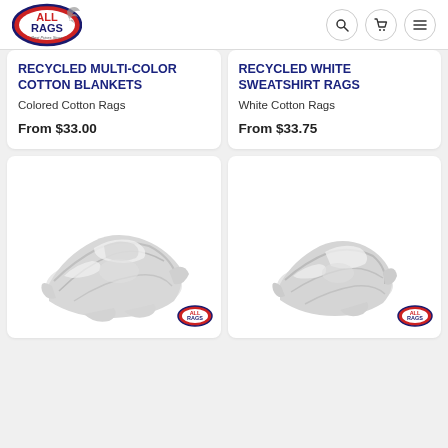ALL RAGS - Best Prices Since
RECYCLED MULTI-COLOR COTTON BLANKETS
Colored Cotton Rags
From $33.00
RECYCLED WHITE SWEATSHIRT RAGS
White Cotton Rags
From $33.75
[Figure (photo): Pile of white recycled cotton blanket rags with All Rags logo]
[Figure (photo): Pile of white recycled sweatshirt rags with All Rags logo]